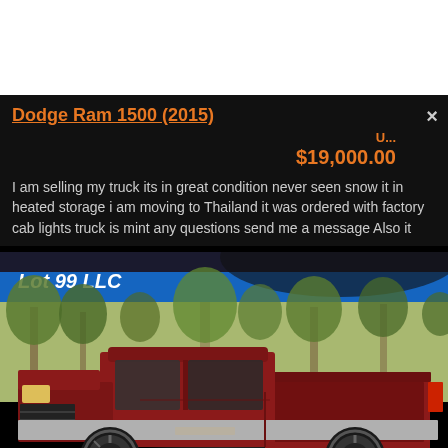Dodge Ram 1500 (2015)
U... $19,000.00
I am selling my truck its in great condition never seen snow it in heated storage i am moving to Thailand it was ordered with factory cab lights truck is mint any questions send me a message Also it
[Figure (photo): Photo of a red/maroon Dodge Ram 1500 pickup truck parked outdoors with trees in the background. A blue canopy is visible at the top with 'Lot 99 LLC' text.]